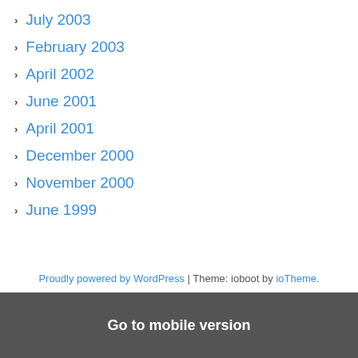July 2003
February 2003
April 2002
June 2001
April 2001
December 2000
November 2000
June 1999
Proudly powered by WordPress | Theme: ioboot by ioTheme.
Go to mobile version